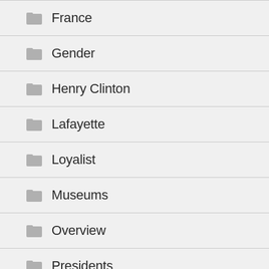France
Gender
Henry Clinton
Lafayette
Loyalist
Museums
Overview
Presidents
Rebel Leaders